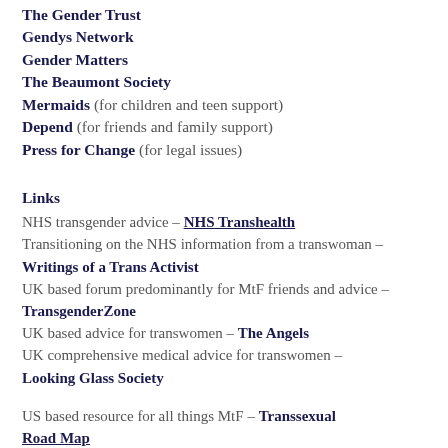The Gender Trust
Gendys Network
Gender Matters
The Beaumont Society
Mermaids (for children and teen support)
Depend (for friends and family support)
Press for Change (for legal issues)
Links
NHS transgender advice – NHS Transhealth
Transitioning on the NHS information from a transwoman – Writings of a Trans Activist
UK based forum predominantly for MtF friends and advice – TransgenderZone
UK based advice for transwomen – The Angels
UK comprehensive medical advice for transwomen – Looking Glass Society
US based resource for all things MtF – Transsexual Road Map